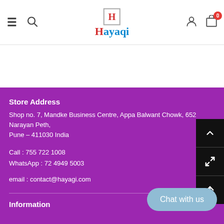Hayaqi store header navigation
Store Address
Shop no. 7, Mandke Business Centre, Appa Balwant Chowk, 652 Narayan Peth, Pune - 411030 India
Call : 755 722 1008
WhatsApp : 72 4949 5003
email : contact@hayagi.com
Information